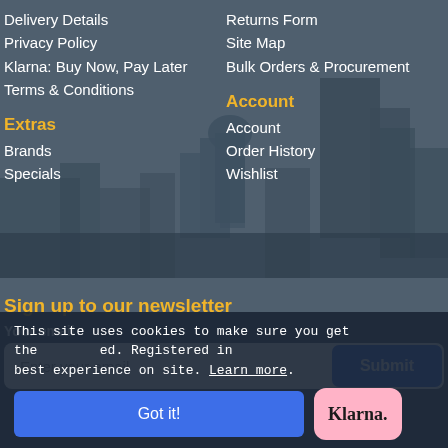Delivery Details
Privacy Policy
Klarna: Buy Now, Pay Later
Terms & Conditions
Returns Form
Site Map
Bulk Orders & Procurement
Extras
Brands
Specials
Account
Account
Order History
Wishlist
Sign up to our newsletter
Your email
Enter your email
This site uses cookies to make sure you get the best experience on site. Learn more.
Got it!
[Figure (logo): Klarna pink badge logo]